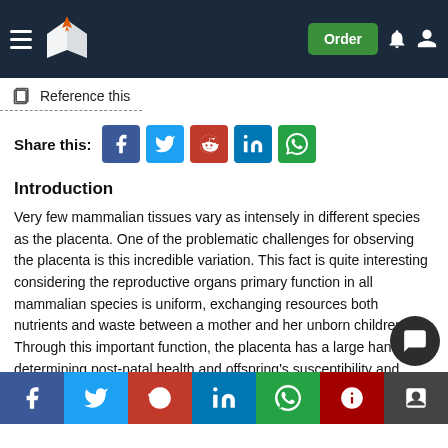Navigation header with logo and Order button
Reference this
[Figure (infographic): Social share buttons: Facebook, Twitter, Reddit, LinkedIn, WhatsApp]
Introduction
Very few mammalian tissues vary as intensely in different species as the placenta. One of the problematic challenges for observing the placenta is this incredible variation. This fact is quite interesting considering the reproductive organs primary function in all mammalian species is uniform, exchanging resources both nutrients and waste between a mother and her unborn children. Through this important function, the placenta has a large hand in determining post-natal health and offspring's susceptibility and health concerns. The research review poses then is simple: why then, does the Eutherian
[Figure (infographic): Bottom share bar with social media icons: Facebook, Twitter, Reddit, LinkedIn, WhatsApp, Mendeley, ResearchGate]